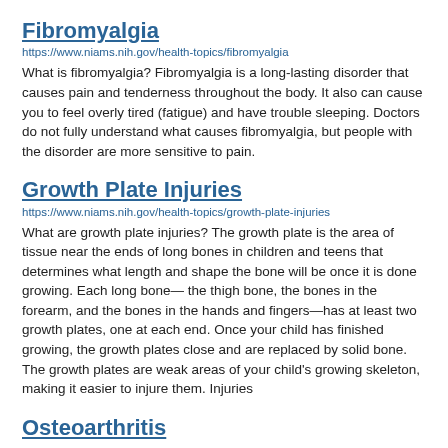Fibromyalgia
https://www.niams.nih.gov/health-topics/fibromyalgia
What is fibromyalgia? Fibromyalgia is a long-lasting disorder that causes pain and tenderness throughout the body. It also can cause you to feel overly tired (fatigue) and have trouble sleeping. Doctors do not fully understand what causes fibromyalgia, but people with the disorder are more sensitive to pain.
Growth Plate Injuries
https://www.niams.nih.gov/health-topics/growth-plate-injuries
What are growth plate injuries? The growth plate is the area of tissue near the ends of long bones in children and teens that determines what length and shape the bone will be once it is done growing. Each long bone— the thigh bone, the bones in the forearm, and the bones in the hands and fingers—has at least two growth plates, one at each end. Once your child has finished growing, the growth plates close and are replaced by solid bone. The growth plates are weak areas of your child's growing skeleton, making it easier to injure them. Injuries
Osteoarthritis